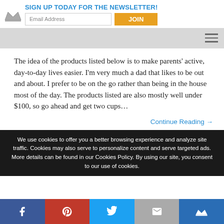SIGN UP TODAY FOR THE NEWSLETTER!
The idea of the products listed below is to make parents’ active, day-to-day lives easier. I’m very much a dad that likes to be out and about. I prefer to be on the go rather than being in the house most of the day. The products listed are also mostly well under $100, so go ahead and get two cups…
Continue Reading →
We use cookies to offer you a better browsing experience and analyze site traffic. Cookies may also serve to personalize content and serve targeted ads. More details can be found in our Cookies Policy. By using our site, you consent to our use of cookies.
Facebook | Pinterest | Twitter | Email | Crown